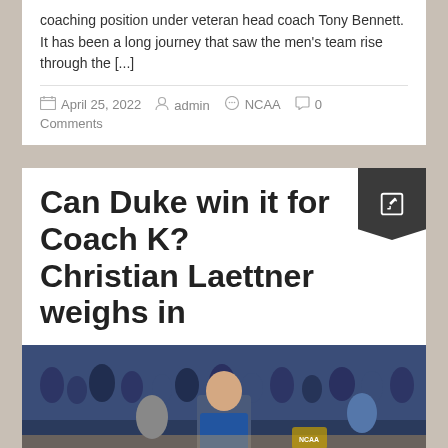coaching position under veteran head coach Tony Bennett. It has been a long journey that saw the men's team rise through the [...]
April 25, 2022  admin  NCAA  0 Comments
Can Duke win it for Coach K? Christian Laettner weighs in
[Figure (photo): Photo of a basketball coach on the sideline at an NCAA event, surrounded by players and crowd in blue uniforms]